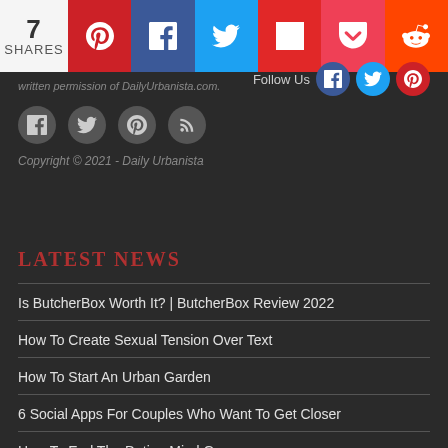7 SHARES
written permission of DailyUrbanista.com.
Follow Us
Copyright © 2021 - Daily Urbanista
LATEST NEWS
Is ButcherBox Worth It? | ButcherBox Review 2022
How To Create Sexual Tension Over Text
How To Start An Urban Garden
6 Social Apps For Couples Who Want To Get Closer
How To End The Dating Mind Games
DIY Avocado Hair Mask: Because Avocados Aren't Just For Eating